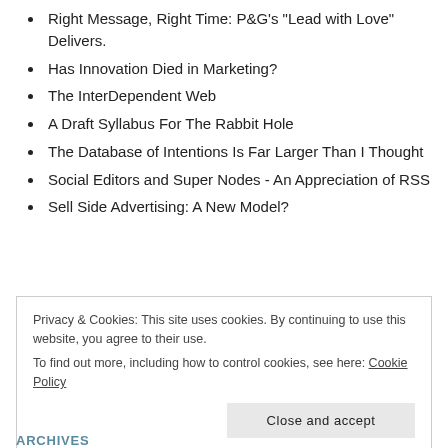Right Message, Right Time: P&G's "Lead with Love" Delivers.
Has Innovation Died in Marketing?
The InterDependent Web
A Draft Syllabus For The Rabbit Hole
The Database of Intentions Is Far Larger Than I Thought
Social Editors and Super Nodes - An Appreciation of RSS
Sell Side Advertising: A New Model?
Privacy & Cookies: This site uses cookies. By continuing to use this website, you agree to their use.
To find out more, including how to control cookies, see here: Cookie Policy
ARCHIVES